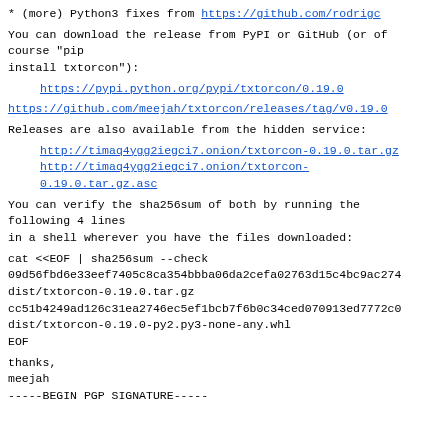* (more) Python3 fixes from https://github.com/rodrigc
You can download the release from PyPI or GitHub (or of course "pip
install txtorcon"):
https://pypi.python.org/pypi/txtorcon/0.19.0
https://github.com/meejah/txtorcon/releases/tag/v0.19.0
Releases are also available from the hidden service:
http://timaq4ygg2iegci7.onion/txtorcon-0.19.0.tar.gz
http://timaq4ygg2iegci7.onion/txtorcon-0.19.0.tar.gz.asc
You can verify the sha256sum of both by running the following 4 lines
in a shell wherever you have the files downloaded:
cat <<EOF | sha256sum --check
09d56fbd6e33eef7405c8ca354bbba06da2cefa02763d15c4bc9ac274
dist/txtorcon-0.19.0.tar.gz
cc51b4249ad126c31ea2746ec5ef1bcb7f6b0c34ced070913ed7772c0
dist/txtorcon-0.19.0-py2.py3-none-any.whl
EOF
thanks,
meejah
-----BEGIN PGP SIGNATURE-----